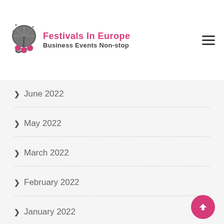Festivals In Europe — Business Events Non-stop
June 2022
May 2022
March 2022
February 2022
January 2022
December 2021
November 2021